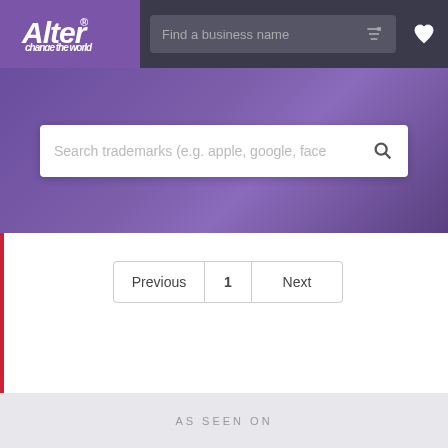[Figure (logo): Alter logo - purple background with white italic text 'Alter' and tagline 'change the world']
[Figure (screenshot): Navigation bar with search field 'Find a business name', filter icon, and heart icon]
[Figure (screenshot): Purple hero section with search bar placeholder 'Search trademarks (e.g. apple, google, face' and search icon]
[Figure (screenshot): Pagination control with Previous, 1, Next buttons]
AS SEEN ON
[Figure (logo): Forbes logo in serif italic font]
[Figure (logo): Inc. logo in bold sans-serif font]
[Figure (logo): The Washington Post logo in old-style serif font]